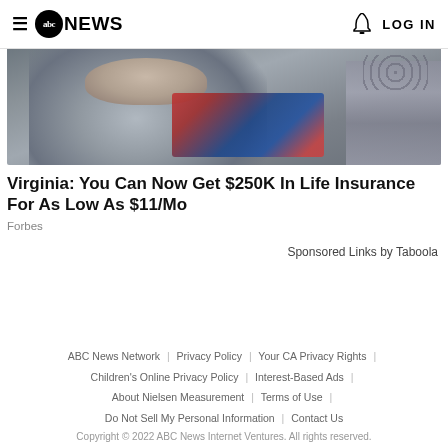abc NEWS  LOG IN
[Figure (photo): Elderly person wearing a grey cardigan and colorful patterned sweater underneath, photographed in close-up.]
Virginia: You Can Now Get $250K In Life Insurance For As Low As $11/Mo
Forbes
Sponsored Links by Taboola
ABC News Network | Privacy Policy | Your CA Privacy Rights | Children's Online Privacy Policy | Interest-Based Ads | About Nielsen Measurement | Terms of Use | Do Not Sell My Personal Information | Contact Us
Copyright © 2022 ABC News Internet Ventures. All rights reserved.